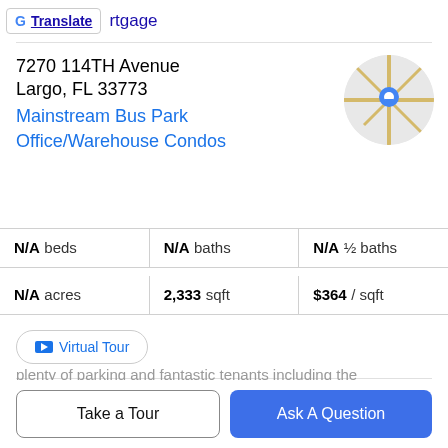[Figure (screenshot): Google Translate button and partial 'rtgage' text link at top]
7270 114TH Avenue
Largo, FL 33773
Mainstream Bus Park Office/Warehouse Condos
[Figure (map): Circular map thumbnail showing location pin]
| beds | baths | ½ baths |
| --- | --- | --- |
| N/A | N/A | N/A |
| acres | sqft | $ / sqft |
| --- | --- | --- |
| N/A | 2,333 | $364 |
Virtual Tour
Property Description
With a Mid-Pinellas County location, Mainstream Business Park is a great opportunity to own your own warehouse
plenty of parking and fantastic tenants including the
Take a Tour
Ask A Question